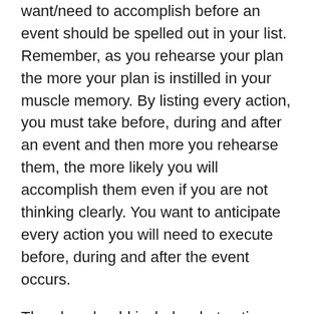want/need to accomplish before an event should be spelled out in your list. Remember, as you rehearse your plan the more your plan is instilled in your muscle memory. By listing every action, you must take before, during and after an event and then more you rehearse them, the more likely you will accomplish them even if you are not thinking clearly. You want to anticipate every action you will need to execute before, during and after the event occurs.
The plan should include what actions you expect the “event” will do. If you are planning for a hurricane event, where does history suggest the likely track will be?
[Note: During the event, you will want to be aware of the storm’s actual track. If the event is a human-influenced event (i.e. civil unrest, terrorist attack, etc.),